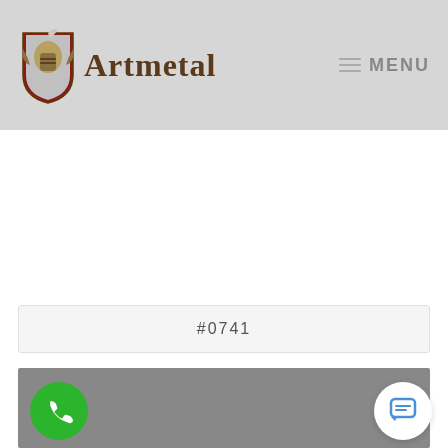Artmetal — MENU
#0741
[Figure (photo): Gray product image area with phone call button (green circle with phone icon) on the left and chat button (white circle with chat icon) on the right]